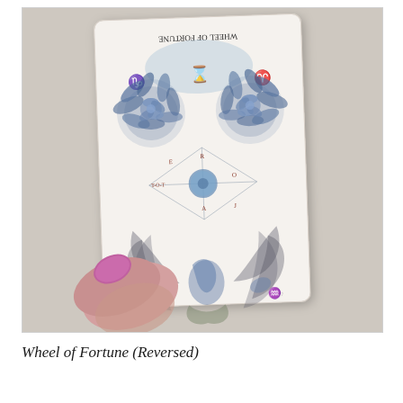[Figure (photo): A hand with pink manicured nails holding a tarot card (Wheel of Fortune, reversed) against a textured beige wall. The card shows an ornate illustration with blue chrysanthemum flowers at the top, a central wheel with astrological symbols, and birds/feathers at the bottom. The card text reads 'WHEEL OF FORTUNE' upside down at the top. Astrological symbols are visible on the corners.]
Wheel of Fortune (Reversed)